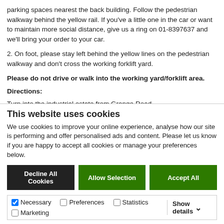parking spaces nearest the back building. Follow the pedestrian walkway behind the yellow rail. If you've a little one in the car or want to maintain more social distance, give us a ring on 01-8397637 and we'll bring your order to your car.
2. On foot, please stay left behind the yellow lines on the pedestrian walkway and don't cross the working forklift yard.
Please do not drive or walk into the working yard/forklift area.
Directions:
Turn into the industrial estate from Grange Road.
Take a left at the first T junction
Number 49 is the last building on the right hand side (Brown building with
This website uses cookies
We use cookies to improve your online experience, analyse how our site is performing and offer personalised ads and content. Please let us know if you are happy to accept all cookies or manage your preferences below.
Decline All Cookies | Allow Selection | Accept All
Necessary | Preferences | Statistics | Marketing | Show details